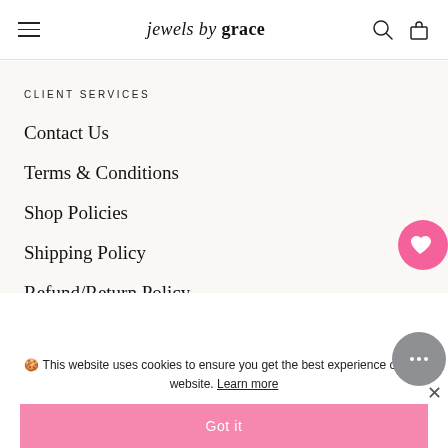jewels by grace
CLIENT SERVICES
Contact Us
Terms & Conditions
Shop Policies
Shipping Policy
Refund/Return Policy
Privacy Policy
🍪 This website uses cookies to ensure you get the best experience on our website. Learn more
Got it